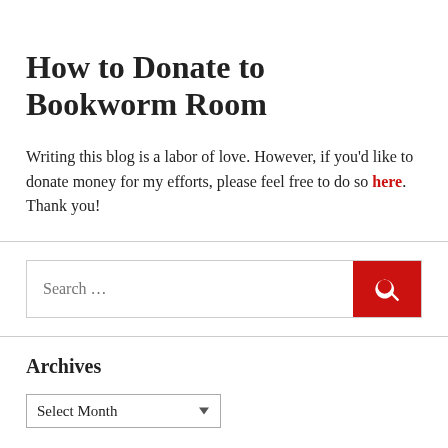How to Donate to Bookworm Room
Writing this blog is a labor of love. However, if you'd like to donate money for my efforts, please feel free to do so here. Thank you!
[Figure (other): Search bar with red search button containing magnifying glass icon]
Archives
Select Month dropdown